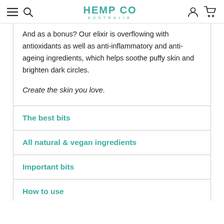HEMP CO AUSTRALIA
And as a bonus? Our elixir is overflowing with antioxidants as well as anti-inflammatory and anti-ageing ingredients, which helps soothe puffy skin and brighten dark circles.

Create the skin you love.
The best bits
All natural & vegan ingredients
Important bits
How to use